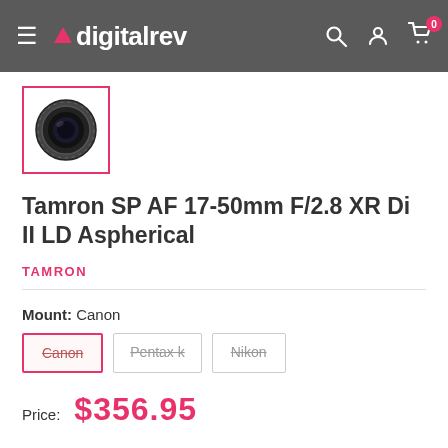digitalrev
[Figure (photo): Tamron camera lens thumbnail image within a pink/magenta border]
Tamron SP AF 17-50mm F/2.8 XR Di II LD Aspherical
TAMRON
Mount: Canon
Canon | Pentax k | Nikon
Price: $356.95